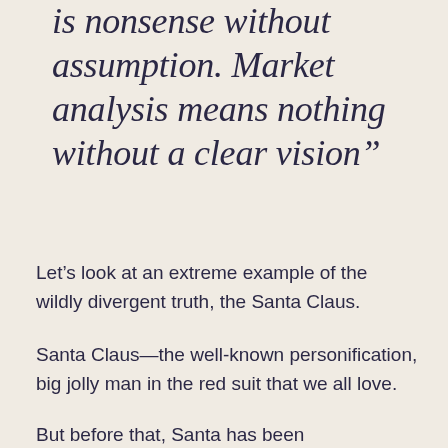is nonsense without assumption. Market analysis means nothing without a clear vision”
Let’s look at an extreme example of the wildly divergent truth, the Santa Claus.
Santa Claus—the well-known personification, big jolly man in the red suit that we all love.
But before that, Santa has been